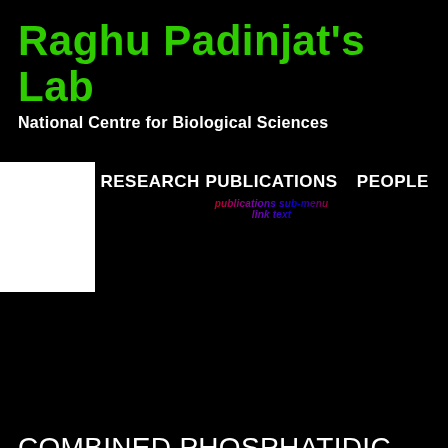Raghu Padinjat's Lab
National Centre for Biological Sciences
RESEARCH
PUBLICATIONS
PEOPLE
COMBINED PHOSPHATIDIC ACID DATA
Displaying 401 - 406 of 406
Combine filter